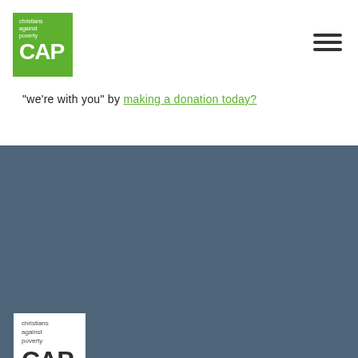[Figure (logo): Christians Against Poverty CAP logo — green square with white text 'christians against poverty' and large white CAP letters]
[Figure (other): Hamburger menu icon — three horizontal dark lines]
"we're with you" by making a donation today?
[Figure (logo): Christians Against Poverty CAP logo — white square with grey text 'christians against poverty' and large dark CAP letters, on dark blue-grey footer background]
[Figure (other): Facebook icon — white F square and Instagram camera circle icon on dark blue-grey background]
FAQs
Contact